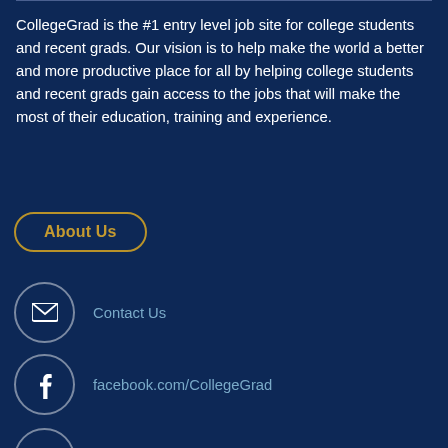CollegeGrad is the #1 entry level job site for college students and recent grads. Our vision is to help make the world a better and more productive place for all by helping college students and recent grads gain access to the jobs that will make the most of their education, training and experience.
About Us
Contact Us
facebook.com/CollegeGrad
twitter.com/TheCollegeGrad
linkedin.com/company/CollegeGrad-llc